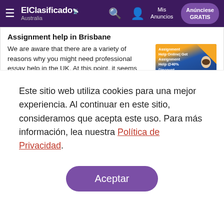ElClasificado Australia — Mis Anuncios — Anúnciese GRATIS
Assignment help in Brisbane
We are aware that there are a variety of reasons why you might need professional essay help in the UK. At this point, it seems rather clear that the degree of competitiveness in the academic world has
[Figure (photo): Advertisement banner for Assignment Help Online with 40% discount, featuring a woman holding a book against a blue and orange background with contact phone numbers.]
Este sitio web utiliza cookies para una mejor experiencia. Al continuar en este sitio, consideramos que acepta este uso. Para más información, lea nuestra Política de Privacidad.
Aceptar